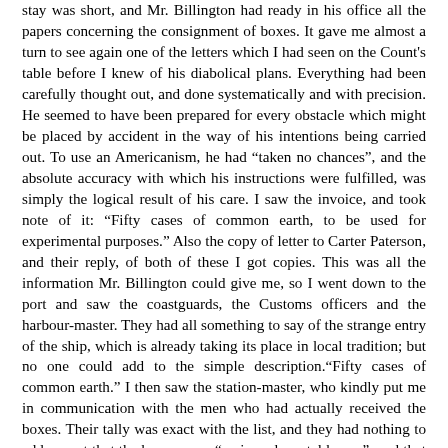stay was short, and Mr. Billington had ready in his office all the papers concerning the consignment of boxes. It gave me almost a turn to see again one of the letters which I had seen on the Count's table before I knew of his diabolical plans. Everything had been carefully thought out, and done systematically and with precision. He seemed to have been prepared for every obstacle which might be placed by accident in the way of his intentions being carried out. To use an Americanism, he had “taken no chances”, and the absolute accuracy with which his instructions were fulfilled, was simply the logical result of his care. I saw the invoice, and took note of it: “Fifty cases of common earth, to be used for experimental purposes.” Also the copy of letter to Carter Paterson, and their reply, of both of these I got copies. This was all the information Mr. Billington could give me, so I went down to the port and saw the coastguards, the Customs officers and the harbour-master. They had all something to say of the strange entry of the ship, which is already taking its place in local tradition; but no one could add to the simple description.“Fifty cases of common earth.” I then saw the station-master, who kindly put me in communication with the men who had actually received the boxes. Their tally was exact with the list, and they had nothing to add except that the boxes were “main and mortal heavy”, and that shifting them was dry work. One of them added that it was hard lines that there wasn’t any gentleman “much like as yourself, squire”, to